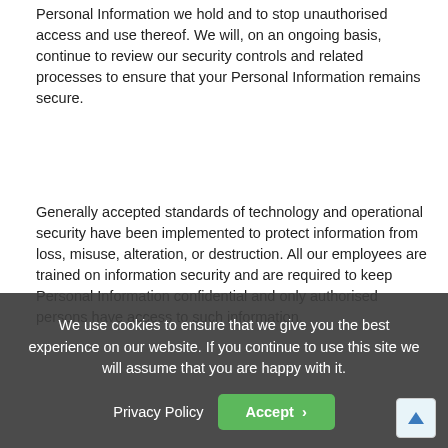Personal Information we hold and to stop unauthorised access and use thereof. We will, on an ongoing basis, continue to review our security controls and related processes to ensure that your Personal Information remains secure.
Generally accepted standards of technology and operational security have been implemented to protect information from loss, misuse, alteration, or destruction. All our employees are trained on information security and are required to keep Personal Information confidential and only authorised persons have access to such information.
When we contract with third parties, we impose appropriate security, privacy and confidentiality obligations on them to ensure that personal information that we remain responsible for, is kept secure.
6. RETENTION OF PERSONAL INFORMATION
We shall only retain and store Personal Information for a period for which the data is required for the prim...
We use cookies to ensure that we give you the best experience on our website. If you continue to use this site we will assume that you are happy with it.